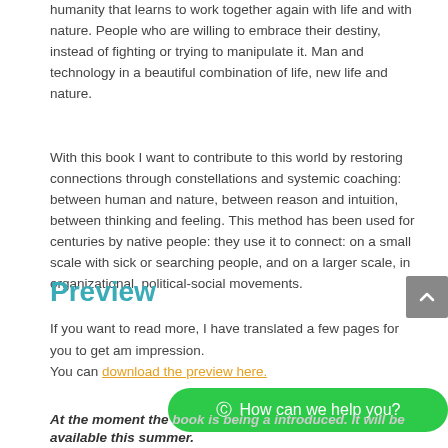humanity that learns to work together again with life and with nature. People who are willing to embrace their destiny, instead of fighting or trying to manipulate it. Man and technology in a beautiful combination of life, new life and nature.
With this book I want to contribute to this world by restoring connections through constellations and systemic coaching: between human and nature, between reason and intuition, between thinking and feeling. This method has been used for centuries by native people: they use it to connect: on a small scale with sick or searching people, and on a larger scale, in organizational, political-social movements.
Preview
If you want to read more, I have translated a few pages for you to get am impression.
You can download the preview here.
At the moment the book is being a introduced. It will be available this summer.